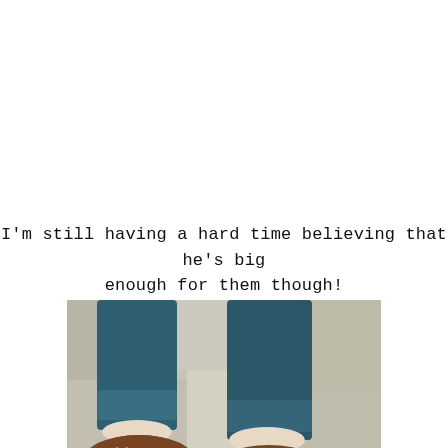I'm still having a hard time believing that he's big enough for them though!
[Figure (photo): A top-down photograph of someone's feet wearing brown suede lace-up shoes with orange laces, wearing rolled-up dark denim jeans, standing on stone ground.]